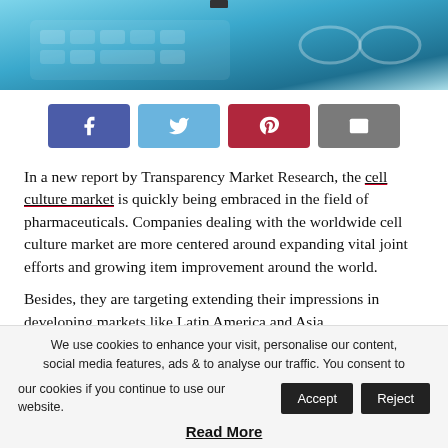[Figure (photo): Hero image showing a keyboard and glasses with blue tones]
[Figure (infographic): Social share buttons: Facebook (purple), Twitter (light blue), Pinterest (red), Email (grey)]
In a new report by Transparency Market Research, the cell culture market is quickly being embraced in the field of pharmaceuticals. Companies dealing with the worldwide cell culture market are more centered around expanding vital joint efforts and growing item improvement around the world.
Besides, they are targeting extending their impressions in developing markets like Latin America and Asia
We use cookies to enhance your visit, personalise our content, social media features, ads & to analyse our traffic. You consent to our cookies if you continue to use our website.
Read More